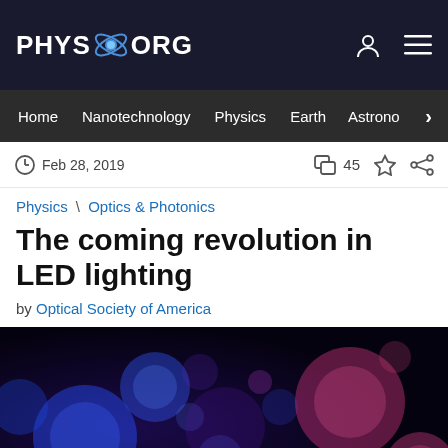PHYS.ORG
Home | Nanotechnology | Physics | Earth | Astronomy >
Feb 28, 2019   45
Physics \ Optics & Photonics
The coming revolution in LED lighting
by Optical Society of America
[Figure (photo): Bokeh photograph of colorful blue and pink/red light circles on dark background, representing LED lighting effects]